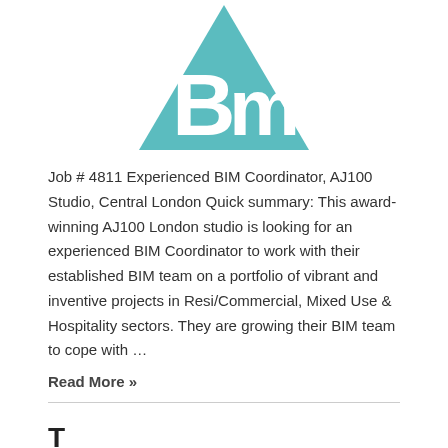[Figure (logo): Teal triangle logo with white 'Bm' letters inside]
Job # 4811 Experienced BIM Coordinator, AJ100 Studio, Central London Quick summary: This award-winning AJ100 London studio is looking for an experienced BIM Coordinator to work with their established BIM team on a portfolio of vibrant and inventive projects in Resi/Commercial, Mixed Use & Hospitality sectors. They are growing their BIM team to cope with …
Read More »
T...